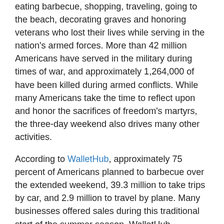eating barbecue, shopping, traveling, going to the beach, decorating graves and honoring veterans who lost their lives while serving in the nation's armed forces. More than 42 million Americans have served in the military during times of war, and approximately 1,264,000 of have been killed during armed conflicts. While many Americans take the time to reflect upon and honor the sacrifices of freedom's martyrs, the three-day weekend also drives many other activities.
According to WalletHub, approximately 75 percent of Americans planned to barbecue over the extended weekend, 39.3 million to take trips by car, and 2.9 million to travel by plane. Many businesses offered sales during this traditional start of the summer season. WalletHub estimates that 41.4 percent of Americans were likely to take advantage of these discounted prices. The Wall Street Journal has argued that Memorial Day has economic consequences in retail sales, car sales, gasoline sales, tourism, meat sales and grills/outdoor furniture sales.